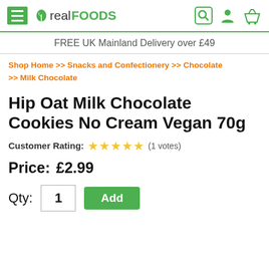realFOODS — FREE UK Mainland Delivery over £49
Shop Home >> Snacks and Confectionery >> Chocolate >> Milk Chocolate
Hip Oat Milk Chocolate Cookies No Cream Vegan 70g
Customer Rating: ★★★★★ (1 votes)
Price: £2.99
Qty: 1  Add